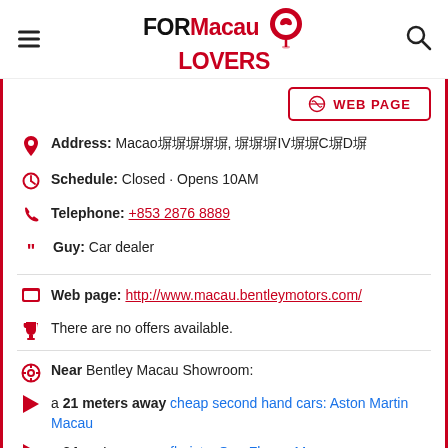FORMacau LOVERS
WEB PAGE
Address: Macao塀塀塀塀塀, 塀塀塀IV塀塀C塀D塀
Schedule: Closed · Opens 10AM
Telephone: +853 2876 8889
Guy: Car dealer
Web page: http://www.macau.bentleymotors.com/
There are no offers available.
Near Bentley Macau Showroom:
a 21 meters away cheap second hand cars: Aston Martin Macau
a 24 meters away florists: One Flower Macau